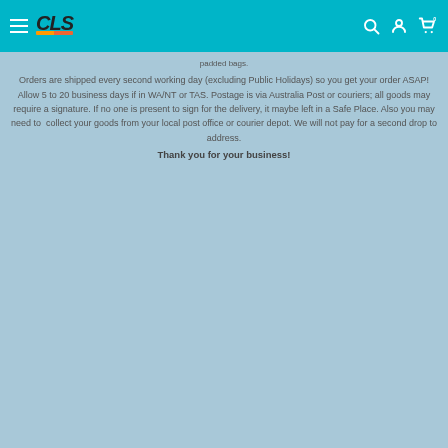CLS [navigation header with hamburger menu, logo, search, account, and cart icons]
padded bags.
Orders are shipped every second working day (excluding Public Holidays) so you get your order ASAP! Allow 5 to 20 business days if in WA/NT or TAS. Postage is via Australia Post or couriers; all goods may require a signature. If no one is present to sign for the delivery, it maybe left in a Safe Place. Also you may need to collect your goods from your local post office or courier depot. We will not pay for a second drop to address.
Thank you for your business!